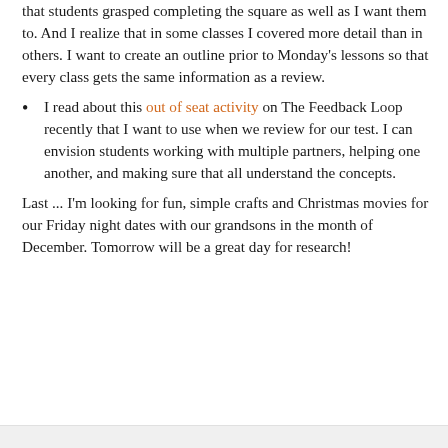that students grasped completing the square as well as I want them to.  And I realize that in some classes I covered more detail than in others.  I want to create an outline prior to Monday's lessons so that every class gets the same information as a review.
I read about this out of seat activity on The Feedback Loop recently that I want to use when we review for our test.  I can envision students working with multiple partners, helping one another, and making sure that all understand the concepts.
Last ... I'm looking for fun, simple crafts and Christmas movies for our Friday night dates with our grandsons in the month of December.  Tomorrow will be a great day for research!